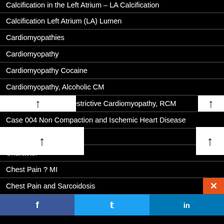Calcification in the Left Atrium – LA Calcification
Calcification Left Atrium (LA) Lumen
Cardiomyopathies
Cardiomyopathy
Cardiomyopathy Cocaine
Cardiomyopathy, Alcoholic CM
Cardiomyopathy, Restrictive Cardiomyopathy, RCM
Case 004 Non Compaction and Ischemic Heart Disease
Cephalisation
Character
Chest Pain ? MI
Chest Pain and Sarcoidosis
f  t  in